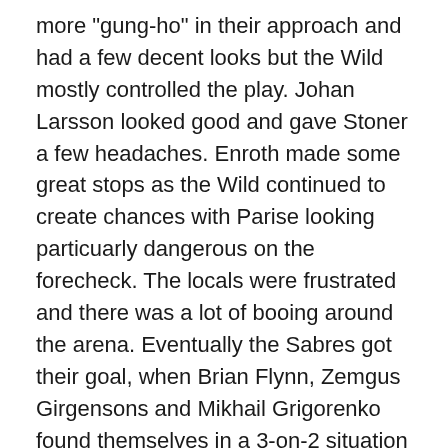more "gung-ho" in their approach and had a few decent looks but the Wild mostly controlled the play. Johan Larsson looked good and gave Stoner a few headaches. Enroth made some great stops as the Wild continued to create chances with Parise looking particuarly dangerous on the forecheck. The locals were frustrated and there was a lot of booing around the arena. Eventually the Sabres got their goal, when Brian Flynn, Zemgus Girgensons and Mikhail Grigorenko found themselves in a 3-on-2 situation and Girgensons set Flynn up for the finish. The Wild regained the lead a few minutes later on the powerplay after some scintillating passing between Spurgeon, Koivu and Pominville, with Doodle finishing it off and drawing the ire of the home fans.
The 3rd period was quietly controlled by the Wild as